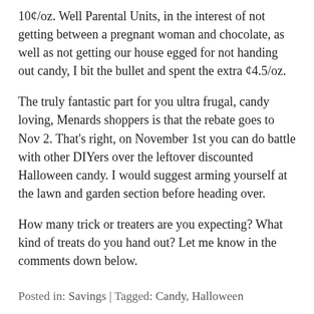10¢/oz.  Well Parental Units, in the interest of not getting between a pregnant woman and chocolate, as well as not getting our house egged for not handing out candy, I bit the bullet and spent the extra ¢4.5/oz.
The truly fantastic part for you ultra frugal, candy loving, Menards shoppers is that the rebate goes to Nov 2.  That's right, on November 1st you can do battle with other DIYers over the leftover discounted Halloween candy.  I would suggest arming yourself at the lawn and garden section before heading over.
How many trick or treaters are you expecting?  What kind of treats do you hand out?  Let me know in the comments down below.
Posted in: Savings | Tagged: Candy, Halloween